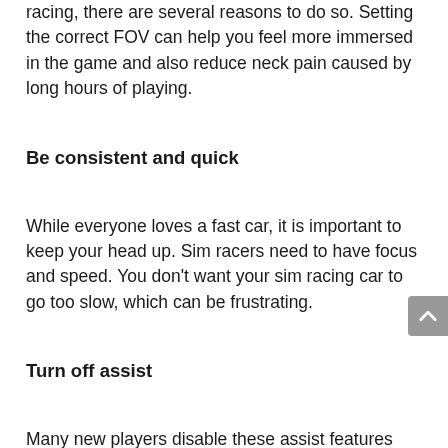racing, there are several reasons to do so. Setting the correct FOV can help you feel more immersed in the game and also reduce neck pain caused by long hours of playing.
Be consistent and quick
While everyone loves a fast car, it is important to keep your head up. Sim racers need to have focus and speed. You don't want your sim racing car to go too slow, which can be frustrating.
Turn off assist
Many new players disable these assist features because they don't feel they have enough control